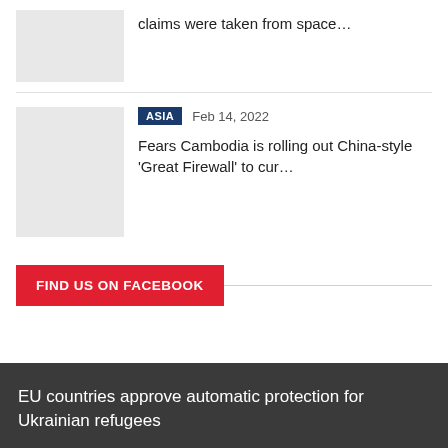claims were taken from space…
[Figure (photo): Thumbnail image placeholder for first article]
ASIA  Feb 14, 2022
[Figure (photo): Thumbnail image placeholder for Cambodia article]
Fears Cambodia is rolling out China-style 'Great Firewall' to cur…
FIND US ON FACEBOOK
EU countries approve automatic protection for Ukrainian refugees